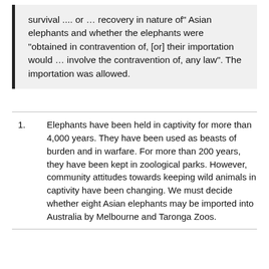survival .... or … recovery in nature of" Asian elephants and whether the elephants were "obtained in contravention of, [or] their importation would … involve the contravention of, any law". The importation was allowed.
Elephants have been held in captivity for more than 4,000 years. They have been used as beasts of burden and in warfare. For more than 200 years, they have been kept in zoological parks. However, community attitudes towards keeping wild animals in captivity have been changing. We must decide whether eight Asian elephants may be imported into Australia by Melbourne and Taronga Zoos.